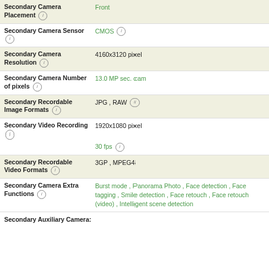| Specification | Value |
| --- | --- |
| Secondary Camera Placement ⓘ | Front |
| Secondary Camera Sensor ⓘ | CMOS ⓘ |
| Secondary Camera Resolution ⓘ | 4160x3120 pixel |
| Secondary Camera Number of pixels ⓘ | 13.0 MP sec. cam |
| Secondary Recordable Image Formats ⓘ | JPG , RAW ⓘ |
| Secondary Video Recording ⓘ | 1920x1080 pixel
30 fps ⓘ |
| Secondary Recordable Video Formats ⓘ | 3GP , MPEG4 |
| Secondary Camera Extra Functions ⓘ | Burst mode , Panorama Photo , Face detection , Face tagging , Smile detection , Face retouch , Face retouch (video) , Intelligent scene detection |
Secondary Auxiliary Camera: